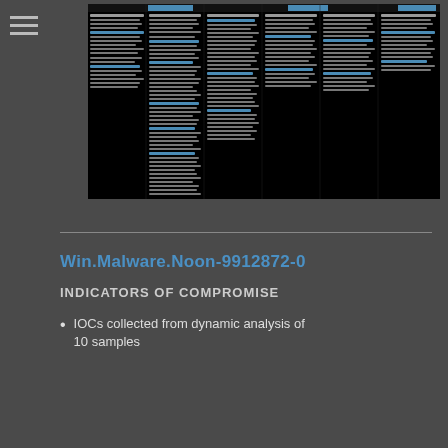[Figure (screenshot): Dense threat intelligence map or ATT&CK matrix screenshot with multiple columns of text items, some highlighted in blue, on a black background]
Win.Malware.Noon-9912872-0
INDICATORS OF COMPROMISE
IOCs collected from dynamic analysis of 10 samples